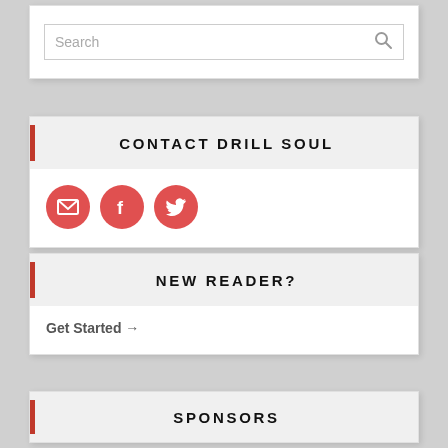[Figure (screenshot): Search bar widget with placeholder text 'Search' and a magnifying glass icon]
CONTACT DRILL SOUL
[Figure (infographic): Three red circular social media icons: email, Facebook, Twitter]
NEW READER?
Get Started →
SPONSORS